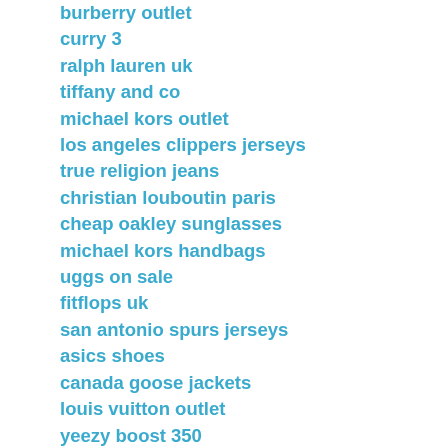burberry outlet
curry 3
ralph lauren uk
tiffany and co
michael kors outlet
los angeles clippers jerseys
true religion jeans
christian louboutin paris
cheap oakley sunglasses
michael kors handbags
uggs on sale
fitflops uk
san antonio spurs jerseys
asics shoes
canada goose jackets
louis vuitton outlet
yeezy boost 350
true religion outlet
uggs sale
air jordan shoes
coach outlet
christian louboutin uk
tommy hilfiger outlet